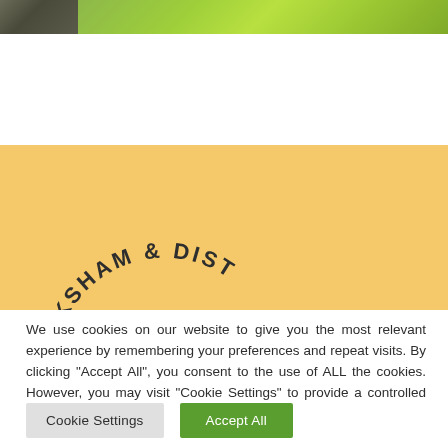[Figure (photo): Top strip: dark grey/brown area on the left and bright green foliage/grass on the right]
[Figure (other): Yellow/golden banner background with partial circular logo text reading 'KSHAM & DIST' in arc]
We use cookies on our website to give you the most relevant experience by remembering your preferences and repeat visits. By clicking “Accept All”, you consent to the use of ALL the cookies. However, you may visit "Cookie Settings" to provide a controlled consent.
Cookie Settings
Accept All